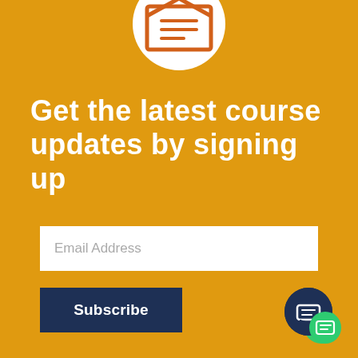[Figure (illustration): Circular white icon with orange open envelope/email symbol at the top of the page, partially cropped]
Get the latest course updates by signing up
[Figure (infographic): Email address input field (white rectangle with placeholder text 'Email Address')]
Subscribe
[Figure (illustration): Dark navy and green teardrop-shaped chat widget icon in bottom-right corner with a chat bubble symbol]